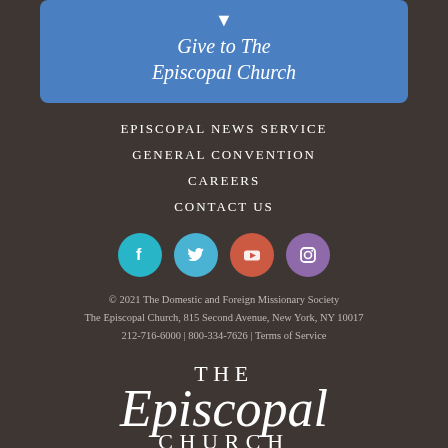[Figure (other): Blue donation box with heart icon and text 'Give to The Episcopal Church']
EPISCOPAL NEWS SERVICE
GENERAL CONVENTION
CAREERS
CONTACT US
[Figure (other): Social media icons row: Facebook (teal), Twitter (light blue), YouTube (red-orange), Instagram (purple)]
© 2021 The Domestic and Foreign Missionary Society
The Episcopal Church, 815 Second Avenue, New York, NY 10017
212-716-6000 | 800-334-7626 | Terms of Service
[Figure (logo): The Episcopal Church logo text: THE Episcopal CHURCH]